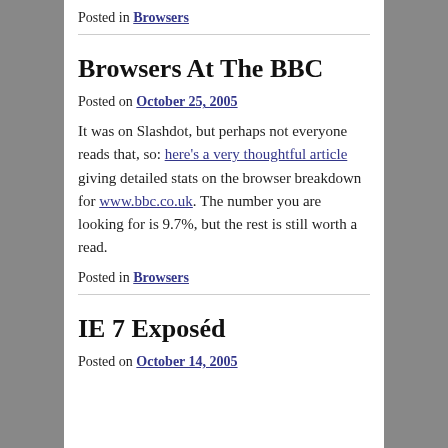Posted in Browsers
Browsers At The BBC
Posted on October 25, 2005
It was on Slashdot, but perhaps not everyone reads that, so: here's a very thoughtful article giving detailed stats on the browser breakdown for www.bbc.co.uk. The number you are looking for is 9.7%, but the rest is still worth a read.
Posted in Browsers
IE 7 Exposéd
Posted on October 14, 2005